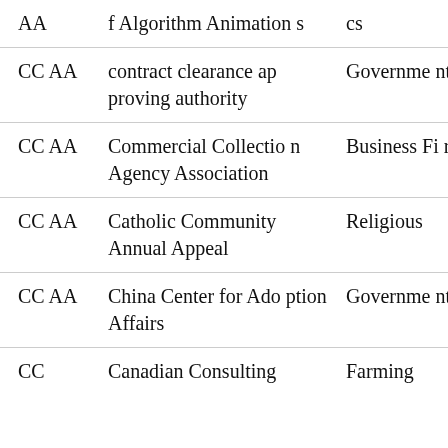| Abbreviation | Full Name | Category |
| --- | --- | --- |
| AA | f Algorithm Animations | cs |
| CCAA | contract clearance approving authority | Government |
| CCAA | Commercial Collection Agency Association | Business Firm |
| CCAA | Catholic Community Annual Appeal | Religious |
| CCAA | China Center for Adoption Affairs | Government |
| CC | Canadian Consulting | Farming |